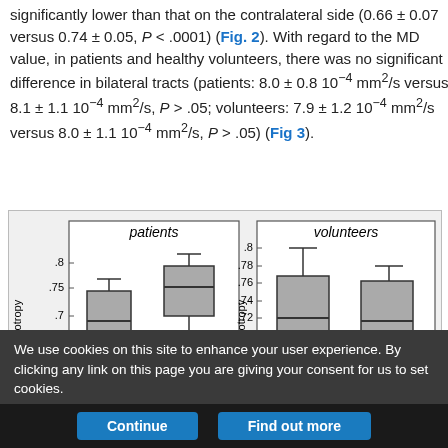significantly lower than that on the contralateral side (0.66 ± 0.07 versus 0.74 ± 0.05, P < .0001) (Fig. 2). With regard to the MD value, in patients and healthy volunteers, there was no significant difference in bilateral tracts (patients: 8.0 ± 0.8 10⁻⁴ mm²/s versus 8.1 ± 1.1 10⁻⁴ mm²/s, P > .05; volunteers: 7.9 ± 1.2 10⁻⁴ mm²/s versus 8.0 ± 1.1 10⁻⁴ mm²/s, P > .05) (Fig 3).
[Figure (other): Box plot chart showing fractional anisotropy values for patients (left panel) and volunteers (right panel), with two boxes each representing bilateral tracts.]
We use cookies on this site to enhance your user experience. By clicking any link on this page you are giving your consent for us to set cookies.